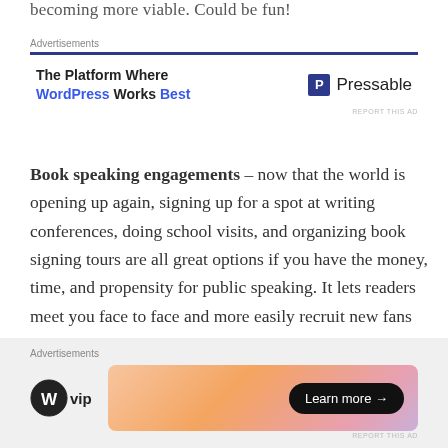becoming more viable. Could be fun!
Advertisements
[Figure (infographic): Pressable ad: The Platform Where WordPress Works Best, with Pressable logo and blue border]
Book speaking engagements – now that the world is opening up again, signing up for a spot at writing conferences, doing school visits, and organizing book signing tours are all great options if you have the money, time, and propensity for public speaking. It lets readers meet you face to face and more easily recruit new fans because you have their attention, but it's also one of the biggest commitments.
Advertisements
[Figure (infographic): WordPress VIP ad with gradient banner and Learn more button]